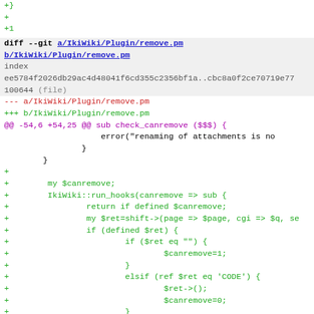+}
+
+1
diff --git a/IkiWiki/Plugin/remove.pm b/IkiWiki/Plugin/remove.pm
index ee5784f2026db29ac4d48041f6cd355c2356bf1a..cbc8a0f2ce70719e77 100644 (file)
--- a/IkiWiki/Plugin/remove.pm
+++ b/IkiWiki/Plugin/remove.pm
@@ -54,6 +54,25 @@ sub check_canremove ($$$) {
error("renaming of attachments is no
                }
        }
+
+        my $canremove;
+        IkiWiki::run_hooks(canremove => sub {
+                return if defined $canremove;
+                my $ret=shift->(page => $page, cgi => $q, se
+                if (defined $ret) {
+                        if ($ret eq "") {
+                                $canremove=1;
+                        }
+                        elsif (ref $ret eq 'CODE') {
+                                $ret->();
+                                $canremove=0;
+                        }
+                        elsif (defined $ret) {
+                                error($ret);
+                                $canremove=0;
+                        }
+                }